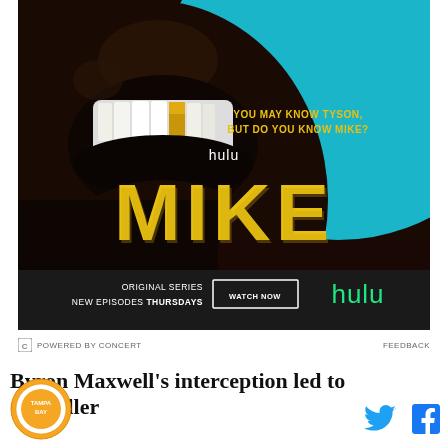[Figure (photo): Hulu advertisement for the original series 'MIKE'. Shows a close-up of a person's open mouth with gold teeth against a dark background and teal upper portion. Text reads 'YOU MAY KNOW TYSON, BUT DO YOU KNOW MIKE?' with Hulu branding. Bottom bar shows 'ORIGINAL SERIES NEW EPISODES THURSDAYS' with a WATCH NOW button and Hulu logo in green.]
POWERED BY CONCERT   FEEDBACK
Byron Maxwell's interception led to Chandler
[Figure (logo): Tampa Bay circular logo with orange/yellow coloring]
[Figure (other): Twitter bird icon in blue and Facebook 'f' icon in blue - social media share buttons]